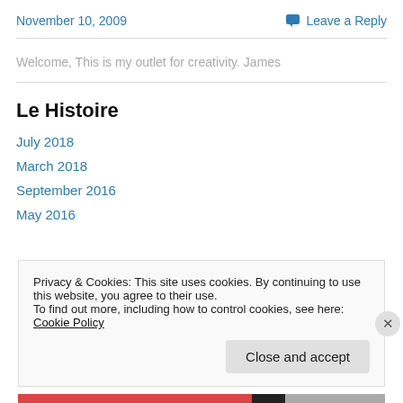November 10, 2009
Leave a Reply
Welcome, This is my outlet for creativity. James
Le Histoire
July 2018
March 2018
September 2016
May 2016
Privacy & Cookies: This site uses cookies. By continuing to use this website, you agree to their use. To find out more, including how to control cookies, see here: Cookie Policy
Close and accept